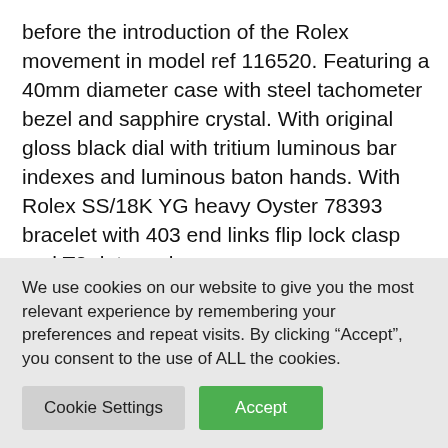before the introduction of the Rolex movement in model ref 116520. Featuring a 40mm diameter case with steel tachometer bezel and sapphire crystal. With original gloss black dial with tritium luminous bar indexes and luminous baton hands. With Rolex SS/18K YG heavy Oyster 78393 bracelet with 403 end links flip lock clasp and T3 date code..
The Zenith automatic movement model Daytona was introduced in 1988 and continued production until 2000. The current example is an early S serial #
We use cookies on our website to give you the most relevant experience by remembering your preferences and repeat visits. By clicking “Accept”, you consent to the use of ALL the cookies.